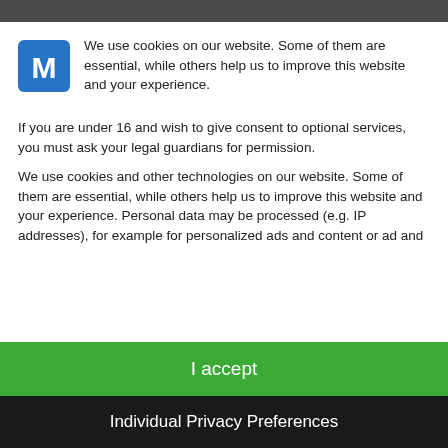[Figure (logo): Blue letter M logo icon for a website]
We use cookies on our website. Some of them are essential, while others help us to improve this website and your experience.
If you are under 16 and wish to give consent to optional services, you must ask your legal guardians for permission.
We use cookies and other technologies on our website. Some of them are essential, while others help us to improve this website and your experience. Personal data may be processed (e.g. IP addresses), for example for personalized ads and content or ad and
I accept
Individual Privacy Preferences